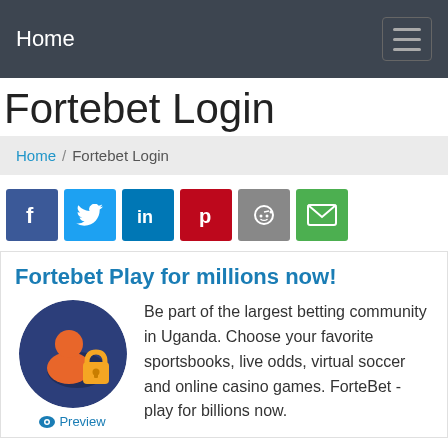Home
Fortebet Login
Home / Fortebet Login
[Figure (infographic): Social sharing icons: Facebook, Twitter, LinkedIn, Pinterest, Reddit, Email]
Fortebet Play for millions now!
[Figure (illustration): Circular icon showing a person silhouette with a padlock, on a dark blue background. Below is an eye icon with 'Preview' text in blue.]
Be part of the largest betting community in Uganda. Choose your favorite sportsbooks, live odds, virtual soccer and online casino games. ForteBet - play for billions now.
Go Ahead to For...